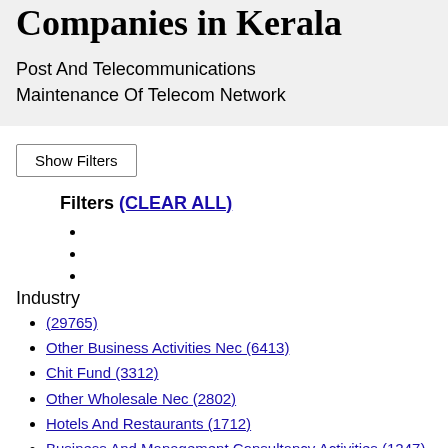Companies in Kerala
Post And Telecommunications
Maintenance Of Telecom Network
Show Filters
Filters (CLEAR ALL)
Industry
(29765)
Other Business Activities Nec (6413)
Chit Fund (3312)
Other Wholesale Nec (2802)
Hotels And Restaurants (1712)
Business And Management Consultancy Activities (1247)